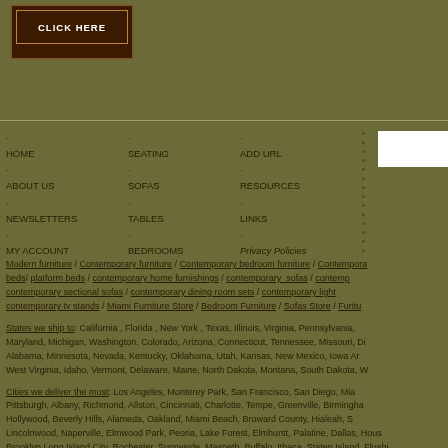[Figure (other): Brown button with white border and text CLICK HERE]
HOME
ABOUT US
NEWSLETTERS
MY ACCOUNT
CONTACT US
SITE MAP
SEATING
SOFAS
TABLES
BEDROOMS
STORAGE
LIGHTING
ADD URL
RESOURCES
LINKS
Privacy Policies
Terms and Conditions
Modern furniture / Contemporary furniture / Contemporary bedroom furniture / Contemporary beds/ platform beds / contemporary home furnishings / contemporary_sofas / contemporary sectional sofas / contemporary dining room sets / contemporary light contemporary tv stands / Miami Furniture Store / Bedroom Furniture / Sofas Store / Furniture
States we ship to: California , Florida , New York , Texas, Illinois, Virginia, Pennsylvania, Maryland, Michigan, Washington, Colorado, Arizona, Connecticut, Tennessee, Missouri, Di Alabama, Minnesota, Nevada, Kentucky, Oklahoma, Utah, Kansas, New Mexico, Iowa Ar West Virginia, Idaho, Vermont, Delaware, Maine, North Dakota, Montana, South Dakota, W
Cities we deliver the most: Los Angeles, Monterey Park, San Francisco, San Diego, Mia Pittsburgh, Albany, Richmond, Allston, Cincinnati, Charlotte, Tempe, Greenville, Birmingha Hollywood, Beverly Hills, Alameda, Oakland, Miami Beach, Broward County, Hialeah, S Lincolnwood, Naperville, Elmwood Park, Peoria, Lake Forest, Elmhurst, Palatine, Dallas, Hous Brooklyn Long Island City, Rochester, Sunnyside, Maspeth, Buffalo, Ithaca, Staten Island, Flushi Santa Clara, La Jolla, Glendale, Sunnyvale, Sacramento, San Jose, Studio City, Carmichael, Culv Norwalk, New Heaven, Stamford, Meriden, Cheshire, Greenwich, Bellevue, Spokane, Bellingham,